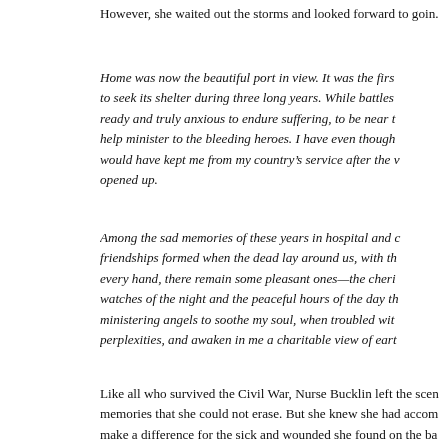However, she waited out the storms and looked forward to goin.
Home was now the beautiful port in view. It was the first to seek its shelter during three long years. While battles ready and truly anxious to endure suffering, to be near t help minister to the bleeding heroes. I have even though would have kept me from my country's service after the v opened up.
Among the sad memories of these years in hospital and c friendships formed when the dead lay around us, with th every hand, there remain some pleasant ones—the cheri watches of the night and the peaceful hours of the day th ministering angels to soothe my soul, when troubled wit perplexities, and awaken in me a charitable view of eart
Like all who survived the Civil War, Nurse Bucklin left the scen memories that she could not erase. But she knew she had accom make a difference for the sick and wounded she found on the ba